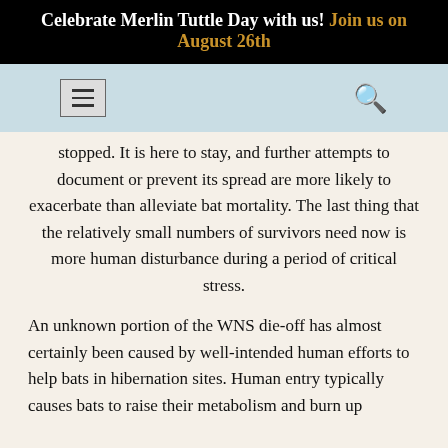Celebrate Merlin Tuttle Day with us! Join us on August 26th
stopped. It is here to stay, and further attempts to document or prevent its spread are more likely to exacerbate than alleviate bat mortality. The last thing that the relatively small numbers of survivors need now is more human disturbance during a period of critical stress.
An unknown portion of the WNS die-off has almost certainly been caused by well-intended human efforts to help bats in hibernation sites. Human entry typically causes bats to raise their metabolism and burn up